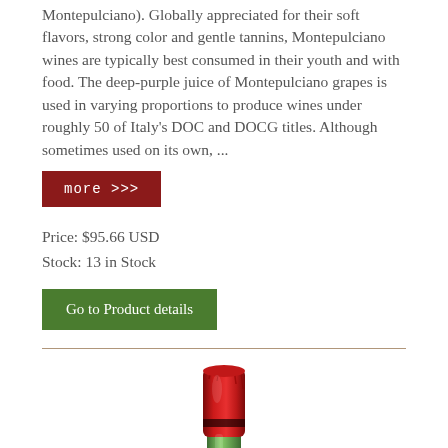Montepulciano). Globally appreciated for their soft flavors, strong color and gentle tannins, Montepulciano wines are typically best consumed in their youth and with food. The deep-purple juice of Montepulciano grapes is used in varying proportions to produce wines under roughly 50 of Italy's DOC and DOCG titles. Although sometimes used on its own, ...
more >>>
Price: $95.66 USD
Stock: 13 in Stock
Go to Product details
[Figure (photo): Close-up of the top of a wine bottle with red wax/foil seal and green glass body]